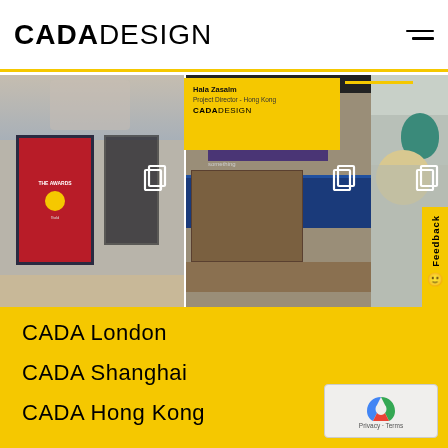CADADESIGN
[Figure (photo): Website screenshot of CADA DESIGN showing a navigation header with CADADESIGN logo and hamburger menu, a photo collage strip of three interior design project photos (award display, a Caffe retail space, a dining area), a yellow feedback tab on the right, and a yellow card overlay showing project info. Below the photos is a yellow banner with office locations: CADA London, CADA Shanghai, CADA Hong Kong, and a reCAPTCHA privacy widget in the bottom right.]
CADA  London
CADA Shanghai
CADA  Hong Kong